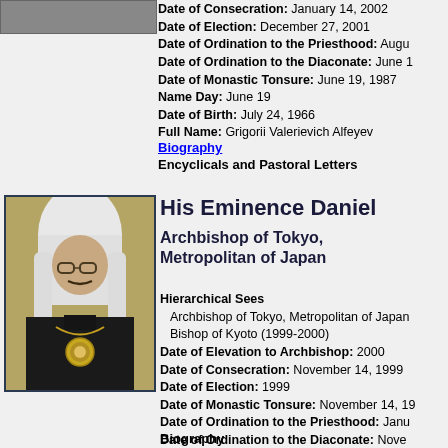[Figure (photo): Partial photo of a church official at top left, cut off at top]
Date of Consecration: January 14, 2002
Date of Election: December 27, 2001
Date of Ordination to the Priesthood: Augu...
Date of Ordination to the Diaconate: June ...
Date of Monastic Tonsure: June 19, 1987
Name Day: June 19
Date of Birth: July 24, 1966
Full Name: Grigorii Valerievich Alfeyev
Biography
Encyclicals and Pastoral Letters
[Figure (photo): Portrait photo of Archbishop Daniel, wearing white monastic headwear and black vestments with ornate pectoral cross, against olive/gold background]
His Eminence Daniel
Archbishop of Tokyo, Metropolitan of Japan
Hierarchical Sees
  Archbishop of Tokyo, Metropolitan of Japan
  Bishop of Kyoto (1999-2000)
Date of Elevation to Archbishop: 2000
Date of Consecration: November 14, 1999
Date of Election: 1999
Date of Monastic Tonsure: November 14, 1...
Date of Ordination to the Priesthood: Janu...
Date of Ordination to the Diaconate: Nove...
Name Day: September 12
Date of Birth: September 5, 1938
Full Name: Ikio Nushiro
Biography
Encyclicals and Pastoral Letters